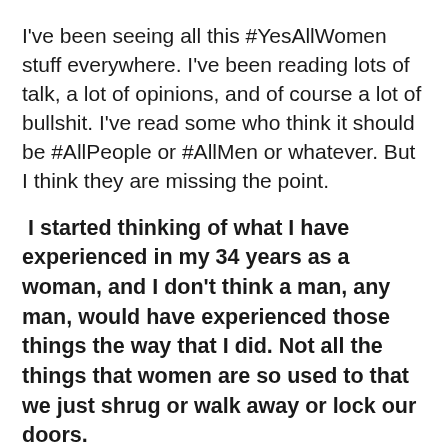I've been seeing all this #YesAllWomen stuff everywhere. I've been reading lots of talk, a lot of opinions, and of course a lot of bullshit. I've read some who think it should be #AllPeople or #AllMen or whatever. But I think they are missing the point.
I started thinking of what I have experienced in my 34 years as a woman, and I don't think a man, any man, would have experienced those things the way that I did. Not all the things that women are so used to that we just shrug or walk away or lock our doors.
#YesAllWomen is not saying that ALL men are sexist, raping, murdering pigs. I'm not saying all men are bad guys, or even not-great guys. I'm saying that I do not know a man who has ever been afraid to walk to his car